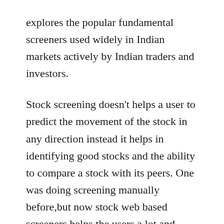explores the popular fundamental screeners used widely in Indian markets actively by Indian traders and investors.
Stock screening doesn’t helps a user to predict the movement of the stock in any direction instead it helps in identifying good stocks and the ability to compare a stock with its peers. One was doing screening manually before,but now stock web based screeners helps the users a lot and plays a major role in taking buy/sell decisions.
Generally stock screener has three basic components: